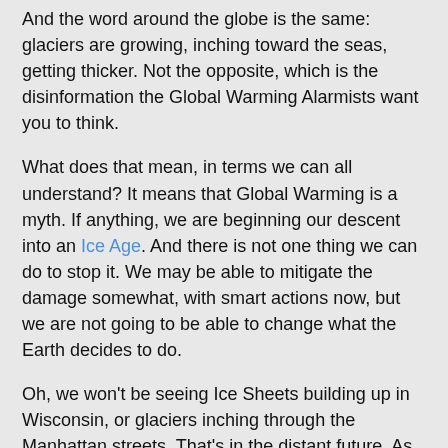And the word around the globe is the same: glaciers are growing, inching toward the seas, getting thicker. Not the opposite, which is the disinformation the Global Warming Alarmists want you to think.
What does that mean, in terms we can all understand? It means that Global Warming is a myth. If anything, we are beginning our descent into an Ice Age. And there is not one thing we can do to stop it. We may be able to mitigate the damage somewhat, with smart actions now, but we are not going to be able to change what the Earth decides to do.
Oh, we won't be seeing Ice Sheets building up in Wisconsin, or glaciers inching through the Manhattan streets. That's in the distant future. As many of us have been saying for at least 20 years, climate is something that moves over vast areas of time, not just space.
So don't worry about the alarmists and their latest idiotic prattlings about warming trends. They're wrong. And they are nearly uniformly made by people who have a vested interest in destroying the Western economies. That's all they care about. Kyoto proves that. They sure as hell don't care